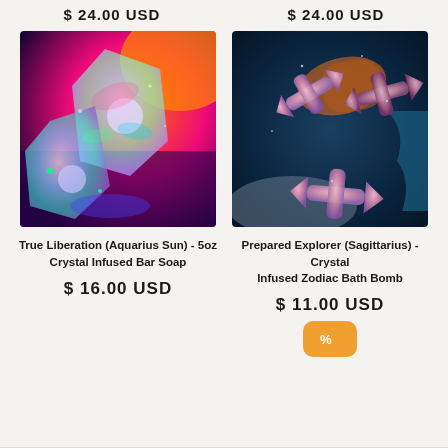$ 24.00 USD
$ 24.00 USD
[Figure (photo): Colorful holographic crystal-shaped bar soap with rainbow light reflections on orange/purple background]
[Figure (photo): Three glittery purple/rose Sagittarius zodiac arrow-shaped bath bombs on teal/blue background]
True Liberation (Aquarius Sun) - 5oz Crystal Infused Bar Soap
Prepared Explorer (Sagittarius) - Crystal Infused Zodiac Bath Bomb
$ 16.00 USD
$ 11.00 USD